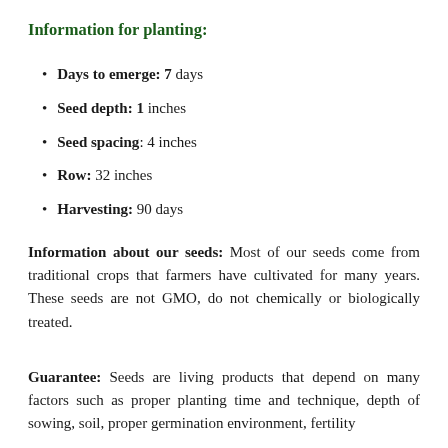Information for planting:
Days to emerge: 7 days
Seed depth: 1 inches
Seed spacing: 4 inches
Row: 32 inches
Harvesting: 90 days
Information about our seeds: Most of our seeds come from traditional crops that farmers have cultivated for many years. These seeds are not GMO, do not chemically or biologically treated.
Guarantee: Seeds are living products that depend on many factors such as proper planting time and technique, depth of sowing, soil, proper germination environment, fertility